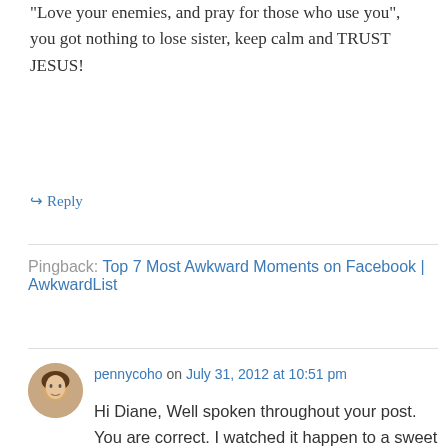“Love your enemies, and pray for those who use you”, you got nothing to lose sister, keep calm and TRUST JESUS!
↳ Reply
Pingback: Top 7 Most Awkward Moments on Facebook | AwkwardList
pennycoho on July 31, 2012 at 10:51 pm
Hi Diane, Well spoken throughout your post. You are correct. I watched it happen to a sweet gentle woman recovering from H1Ni when her husband was suddenly struck and killed by a careless driver leaving her with 3 children to care for. His parents (loving? christians who had been